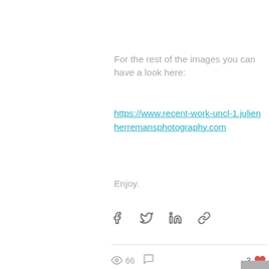For the rest of the images you can have a look here:
https://www.recent-work-uncl-1.julienherremansphotography.com
Enjoy.
[Figure (other): Social share icons: Facebook, Twitter, LinkedIn, link/chain]
[Figure (other): View count: eye icon with 66, comment icon, 3 heart likes, scroll-to-top button]
Recent Posts
See All
[Figure (photo): Bottom thumbnail images partially visible: blurred gold lamp and orange image]